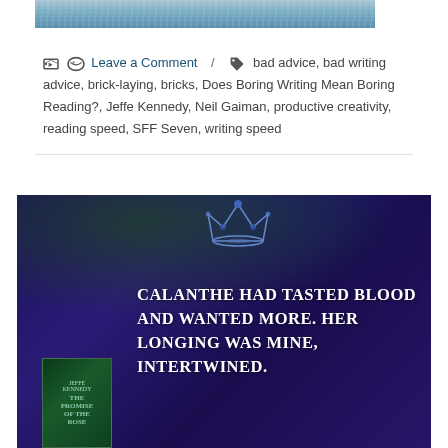[Figure (photo): Top portion of a water/ice texture image, blue-grey tones]
Leave a Comment / bad advice, bad writing advice, brick-laying, bricks, Does Boring Writing Mean Boring Reading?, Jeffe Kennedy, Neil Gaiman, productive creativity, reading speed, SFF Seven, writing speed
[Figure (photo): Book promotional image with purple/blue background, crown, flowers, book cover of 'Promised', and quote text: CALANTHE HAD TASTED BLOOD AND WANTED MORE. HER LONGING WAS MINE, INTERTWINED.]